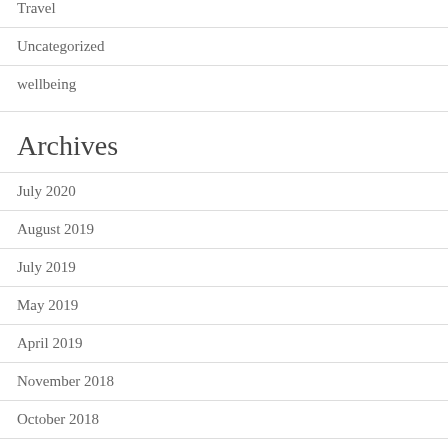Travel
Uncategorized
wellbeing
Archives
July 2020
August 2019
July 2019
May 2019
April 2019
November 2018
October 2018
September 2018